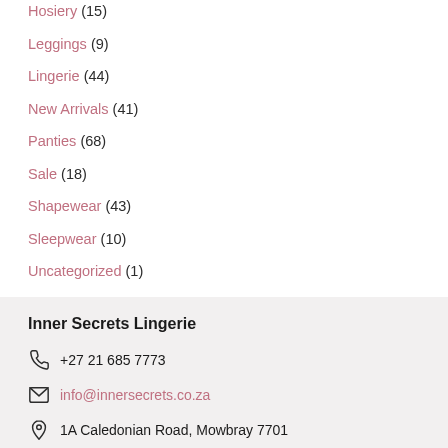Hosiery (15)
Leggings (9)
Lingerie (44)
New Arrivals (41)
Panties (68)
Sale (18)
Shapewear (43)
Sleepwear (10)
Uncategorized (1)
Inner Secrets Lingerie
+27 21 685 7773
info@innersecrets.co.za
1A Caledonian Road, Mowbray 7701